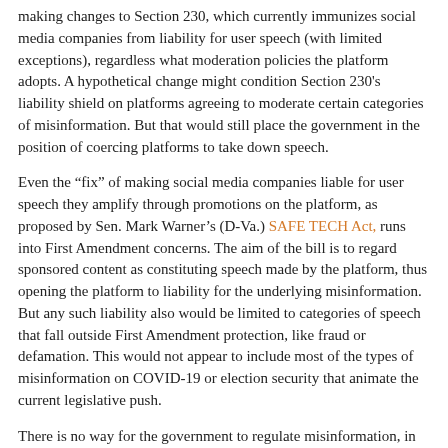making changes to Section 230, which currently immunizes social media companies from liability for user speech (with limited exceptions), regardless what moderation policies the platform adopts. A hypothetical change might condition Section 230's liability shield on platforms agreeing to moderate certain categories of misinformation. But that would still place the government in the position of coercing platforms to take down speech.
Even the “fix” of making social media companies liable for user speech they amplify through promotions on the platform, as proposed by Sen. Mark Warner’s (D-Va.) SAFE TECH Act, runs into First Amendment concerns. The aim of the bill is to regard sponsored content as constituting speech made by the platform, thus opening the platform to liability for the underlying misinformation. But any such liability also would be limited to categories of speech that fall outside First Amendment protection, like fraud or defamation. This would not appear to include most of the types of misinformation on COVID-19 or election security that animate the current legislative push.
There is no way for the government to regulate misinformation, in and of itself, consistent with the First Amendment. Big Tech companies are free to develop their own policies against misinformation, but the government may not force them to do